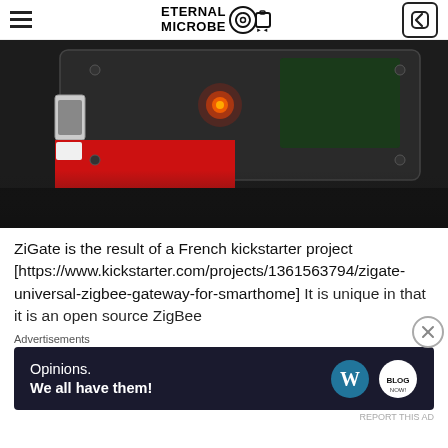ETERNAL MICROBE
[Figure (photo): Close-up photo of a ZiGate Zigbee USB device with a glowing red LED light, plugged into a red circuit board, on a dark background]
ZiGate is the result of a French kickstarter project [https://www.kickstarter.com/projects/1361563794/zigate-universal-zigbee-gateway-for-smarthome] It is unique in that it is an open source ZigBee
Advertisements
[Figure (other): Advertisement banner: 'Opinions. We all have them!' with WordPress and another logo, dark navy background]